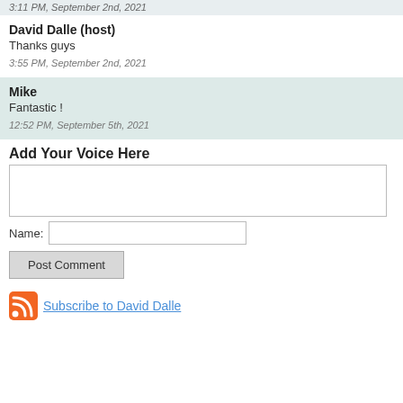3:11 PM, September 2nd, 2021
David Dalle (host)
Thanks guys
3:55 PM, September 2nd, 2021
Mike
Fantastic !
12:52 PM, September 5th, 2021
Add Your Voice Here
Name:
Post Comment
Subscribe to David Dalle